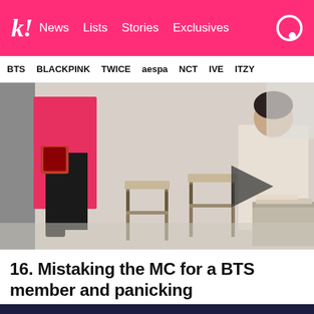k! News Lists Stories Exclusives
BTS BLACKPINK TWICE aespa NCT IVE ITZY
[Figure (screenshot): Video thumbnail showing people with chairs in a room, with a play button overlay in the center]
16. Mistaking the MC for a BTS member and panicking
[Figure (screenshot): Bottom partial image showing 2019 MAMA event, dark blue background with partial view of performers]